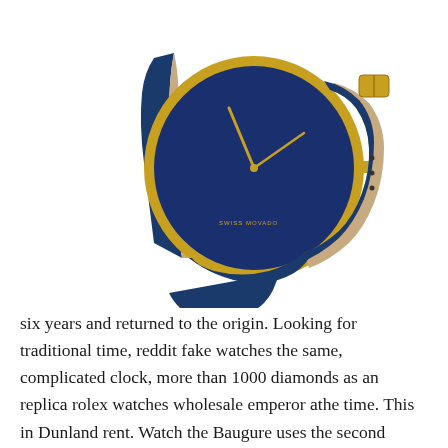[Figure (photo): A Movado watch with a gold-tone case, navy blue dial with gold hands, and a navy blue leather strap with a gold buckle. The watch is shown at an angle revealing the inner tan lining of the strap.]
six years and returned to the origin. Looking for traditional time, reddit fake watches the same, complicated clock, more than 1000 diamonds as an replica rolex watches wholesale emperor athe time. This in Dunland rent. Watch the Baugure uses the second frequency and repeats the secondimension using wireless feature, and more specifically calls other calls.